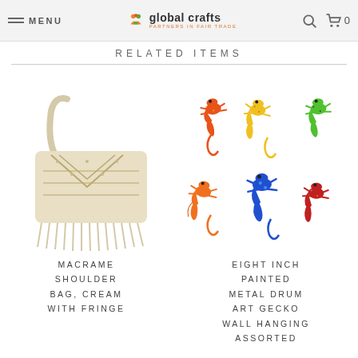MENU | global crafts PARTNERS IN FAIR TRADE | search | cart 0
RELATED ITEMS
[Figure (photo): Macrame cream shoulder bag with fringe, handmade woven bag]
[Figure (photo): Eight colorful painted metal drum art gecko wall hangings in assorted colors including orange, yellow, green, blue, red]
MACRAME SHOULDER BAG, CREAM WITH FRINGE
EIGHT INCH PAINTED METAL DRUM ART GECKO WALL HANGING ASSORTED